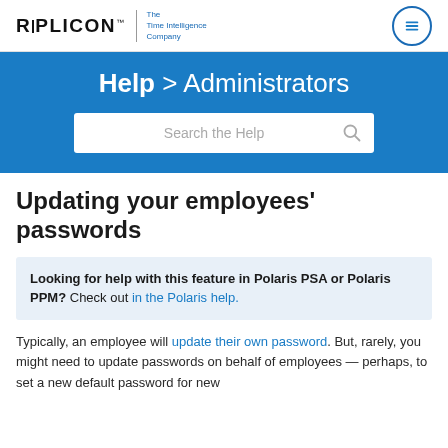[Figure (logo): Replicon logo with tagline 'The Time Intelligence Company' and a hamburger menu icon]
Help > Administrators
Search the Help
Updating your employees' passwords
Looking for help with this feature in Polaris PSA or Polaris PPM? Check out in the Polaris help.
Typically, an employee will update their own password. But, rarely, you might need to update passwords on behalf of employees — perhaps, to set a new default password for new